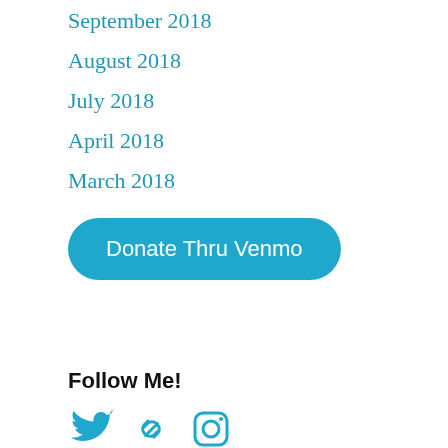September 2018
August 2018
July 2018
April 2018
March 2018
[Figure (other): Donate Thru Venmo button — teal rounded rectangle with white text]
Follow Me!
[Figure (other): Social media icons: Twitter bird, chain/link icon, Instagram camera icon — all in teal/blue color]